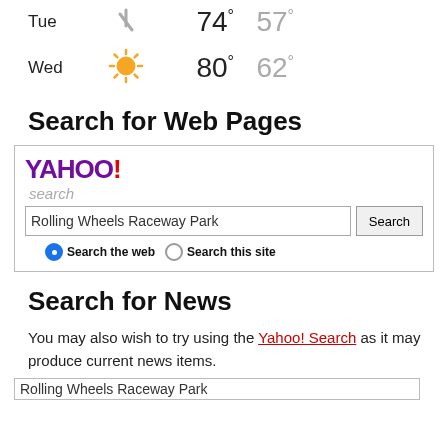Tue  74° 57°
Wed  80° 62°
Search for Web Pages
[Figure (screenshot): Yahoo! Search box with query 'Rolling Wheels Raceway Park', Search button, radio buttons for 'Search the web' and 'Search this site']
Search for News
You may also wish to try using the Yahoo! Search as it may produce current news items.
Rolling Wheels Raceway Park